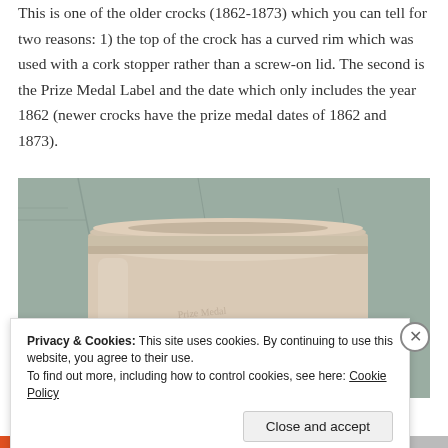This is one of the older crocks (1862-1873) which you can tell for two reasons: 1) the top of the crock has a curved rim which was used with a cork stopper rather than a screw-on lid. The second is the Prize Medal Label and the date which only includes the year 1862 (newer crocks have the prize medal dates of 1862 and 1873).
[Figure (photo): Close-up photograph of the top of a ceramic crock showing a curved rim, cream/beige colored stoneware against a muted green-gray background.]
Privacy & Cookies: This site uses cookies. By continuing to use this website, you agree to their use.
To find out more, including how to control cookies, see here: Cookie Policy